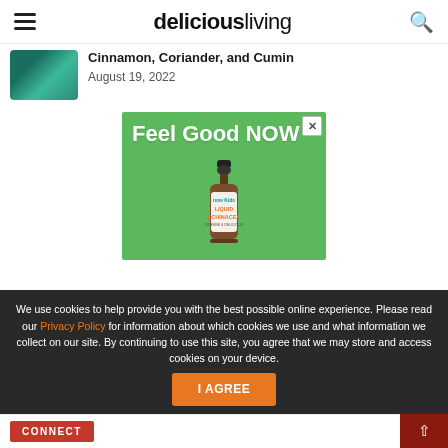deliciousliving
Cinnamon, Coriander, and Cumin
August 19, 2022
[Figure (photo): Advertisement: Feel Good NOW - Now Kids Liquid Echinacea Orange & Delicious product bottle on green background]
We use cookies to help provide you with the best possible online experience. Please read our Privacy Policy for information about which cookies we use and what information we collect on our site. By continuing to use this site, you agree that we may store and access cookies on your device.
I AGREE
CONNECT